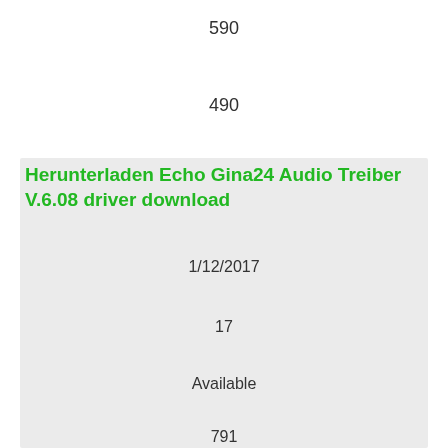590
490
Herunterladen Echo Gina24 Audio Treiber V.6.08 driver download
1/12/2017
17
Available
791